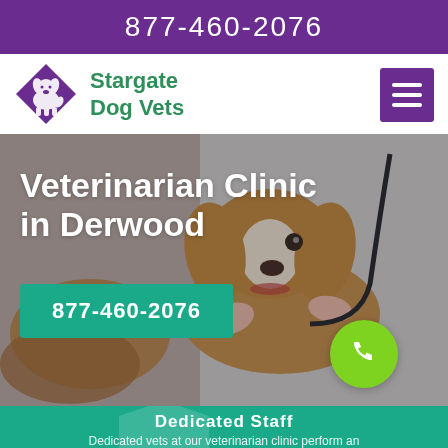877-460-2076
[Figure (logo): Stargate Dog Vets logo — purple diamond with dog silhouette icon]
Stargate Dog Vets
[Figure (illustration): Hamburger / menu icon button in purple]
[Figure (photo): Hero background photo of a Cavalier King Charles Spaniel being examined by a vet in a white coat holding a stethoscope]
Veterinarian Clinic in Derwood
877-460-2076
[Figure (illustration): Green circular phone/call button icon]
Dedicated Staff
Dedicated vets at our veterinarian clinic perform an